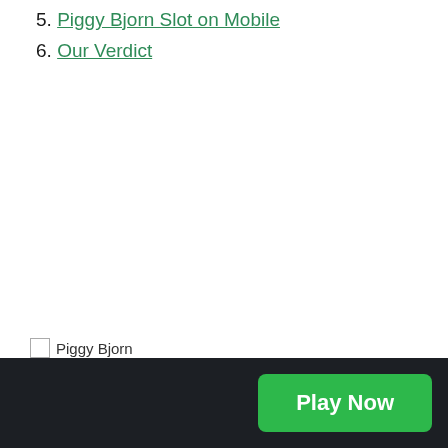5. Piggy Bjorn Slot on Mobile
6. Our Verdict
[Figure (photo): Broken image placeholder labeled 'Piggy Bjorn']
Play Now button on dark footer bar